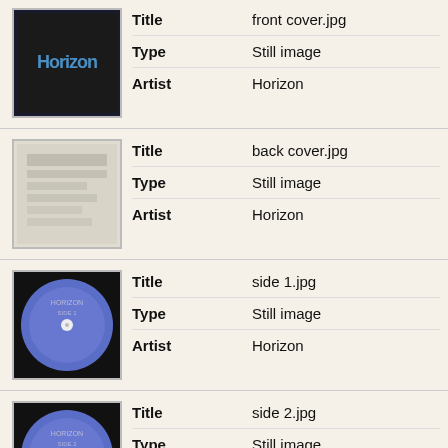| Thumbnail | Field | Value |
| --- | --- | --- |
| [front cover image] | Title | front cover.jpg |
|  | Type | Still image |
|  | Artist | Horizon |
| [back cover image] | Title | back cover.jpg |
|  | Type | Still image |
|  | Artist | Horizon |
| [side 1 image] | Title | side 1.jpg |
|  | Type | Still image |
|  | Artist | Horizon |
| [side 2 image] | Title | side 2.jpg |
|  | Type | Still image |
|  | Artist | Horizon |